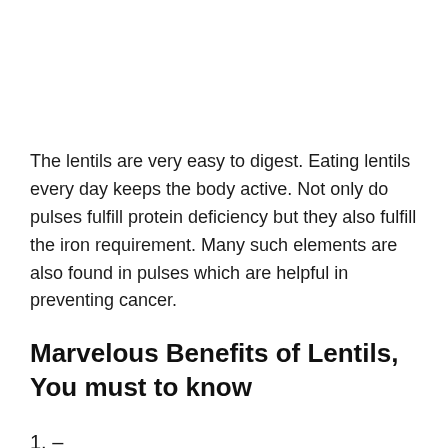The lentils are very easy to digest. Eating lentils every day keeps the body active. Not only do pulses fulfill protein deficiency but they also fulfill the iron requirement. Many such elements are also found in pulses which are helpful in preventing cancer.
Marvelous Benefits of Lentils, You must to know
1. –